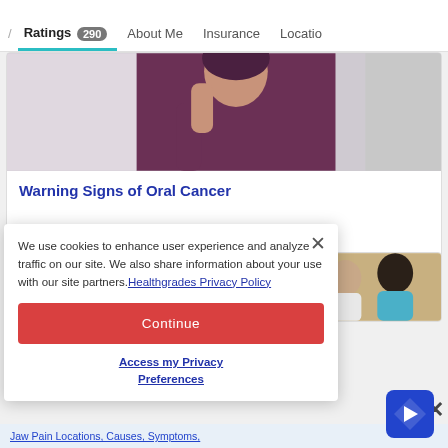/ Ratings 290 About Me Insurance Location
[Figure (photo): Partial photo of a person in a purple/maroon top, appearing distressed, with light background]
Warning Signs of Oral Cancer
[Figure (photo): Partial photo of people in exercise or physical activity setting]
We use cookies to enhance user experience and analyze traffic on our site. We also share information about your use with our site partners. Healthgrades Privacy Policy
Continue
Access my Privacy Preferences
Jaw Pain Locations, Causes, Symptoms,